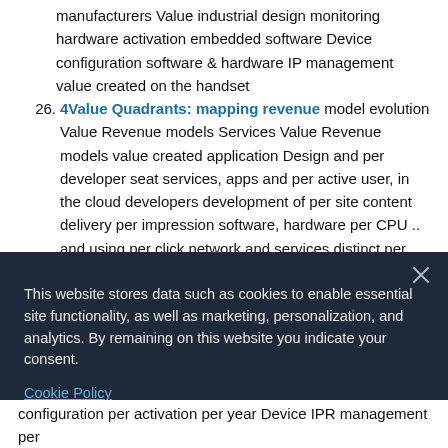manufacturers Value industrial design monitoring hardware activation embedded software Device configuration software & hardware IP management value created on the handset
26. 4Value Quadrants: mapping revenue model evolution Value Revenue models Services Value Revenue models value created application Design and per developer seat services, apps and per active user, in the cloud developers development of per site content delivery per impression software, hardware per CPU .. and using per click network and services distinct per transaction operators revenue models subscription risk-sharing service deliv. handset platforms OEMs development advertisers content tools
This website stores data such as cookies to enable essential site functionality, as well as marketing, personalization, and analytics. By remaining on this website you indicate your consent.
Cookie Policy
configuration per activation per year Device IPR management per